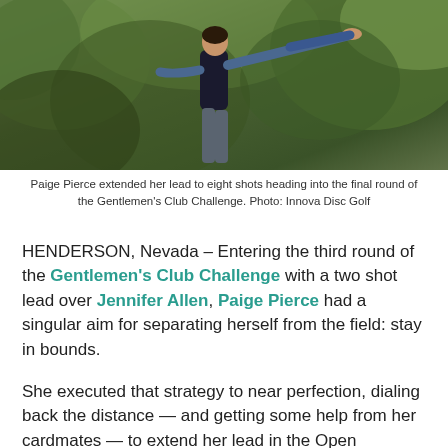[Figure (photo): Paige Pierce in mid-throw stance, wearing dark vest and grey pants, with green foliage background]
Paige Pierce extended her lead to eight shots heading into the final round of the Gentlemen's Club Challenge. Photo: Innova Disc Golf
HENDERSON, Nevada – Entering the third round of the Gentlemen's Club Challenge with a two shot lead over Jennifer Allen, Paige Pierce had a singular aim for separating herself from the field: stay in bounds.
She executed that strategy to near perfection, dialing back the distance — and getting some help from her cardmates — to extend her lead in the Open Women's division to eight shots heading into today's final round. Pierce's 2-under par 57 brought her to a 1-under par 174 for the event, while Jennifer Allen's 4-over par 63 finds her in second place with a 7-over